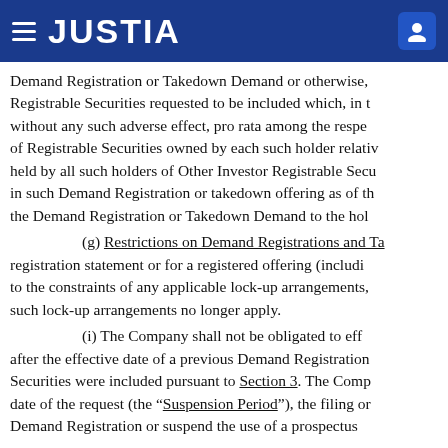JUSTIA
Demand Registration or Takedown Demand or otherwise, Registrable Securities requested to be included which, in t without any such adverse effect, pro rata among the respe of Registrable Securities owned by each such holder relativ held by all such holders of Other Investor Registrable Secu in such Demand Registration or takedown offering as of th the Demand Registration or Takedown Demand to the hol
(g) Restrictions on Demand Registrations and Ta registration statement or for a registered offering (includi to the constraints of any applicable lock-up arrangements, such lock-up arrangements no longer apply.
(i) The Company shall not be obligated to eff after the effective date of a previous Demand Registration Securities were included pursuant to Section 3. The Comp date of the request (the “Suspension Period”), the filing or Demand Registration or suspend the use of a prospectus